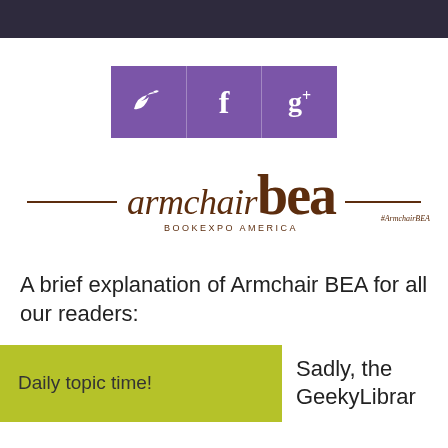[Figure (logo): Social media icons: Twitter bird, Facebook f, Google+ g+ in purple boxes]
[Figure (logo): Armchair BEA logo with italic 'armchair' text and bold 'bea' letters, horizontal brown lines, BOOKEXPO AMERICA subtitle, #ArmchairBEA hashtag]
A brief explanation of Armchair BEA for all our readers:
Daily topic time!
Sadly, the GeekyLibrar